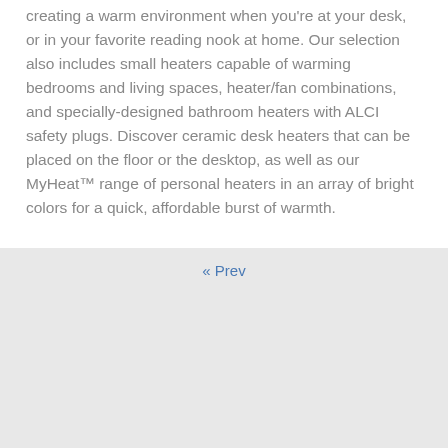creating a warm environment when you're at your desk, or in your favorite reading nook at home. Our selection also includes small heaters capable of warming bedrooms and living spaces, heater/fan combinations, and specially-designed bathroom heaters with ALCI safety plugs. Discover ceramic desk heaters that can be placed on the floor or the desktop, as well as our MyHeat™ range of personal heaters in an array of bright colors for a quick, affordable burst of warmth.
« Prev
[Figure (photo): A black ceramic space heater with a red indicator light and control buttons on top, shown against a white background.]